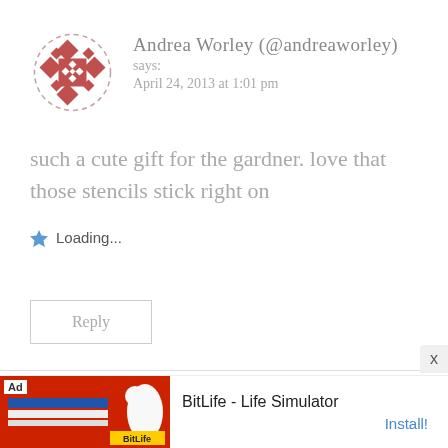[Figure (illustration): Decorative avatar with red geometric diamond/square pattern on white background with dashed circular border]
Andrea Worley (@andreaworley)
says:
April 24, 2013 at 1:01 pm
such a cute gift for the gardner. love that those stencils stick right on
Loading...
Reply
[Figure (screenshot): BitLife - Life Simulator advertisement banner with red background, Ad label, and Install button]